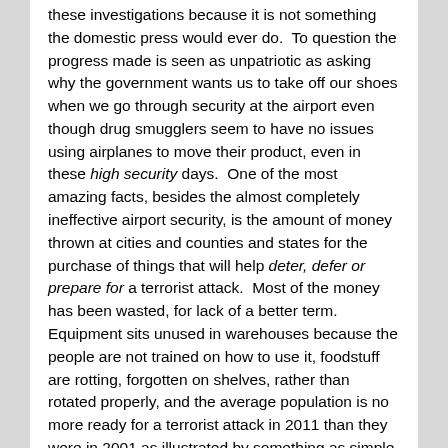these investigations because it is not something the domestic press would ever do.  To question the progress made is seen as unpatriotic as asking why the government wants us to take off our shoes when we go through security at the airport even though drug smugglers seem to have no issues using airplanes to move their product, even in these high security days.  One of the most amazing facts, besides the almost completely ineffective airport security, is the amount of money thrown at cities and counties and states for the purchase of things that will help deter, defer or prepare for a terrorist attack.  Most of the money has been wasted, for lack of a better term.  Equipment sits unused in warehouses because the people are not trained on how to use it, foodstuff are rotting, forgotten on shelves, rather than rotated properly, and the average population is no more ready for a terrorist attack in 2011 than they were in 2001 as illustrated by something as simple as a heavy rain, the result of the remnants of a hurricane.  If we are not prepared for what Mother Nature throws at us, how can we say we are prepared for a terrorist action?